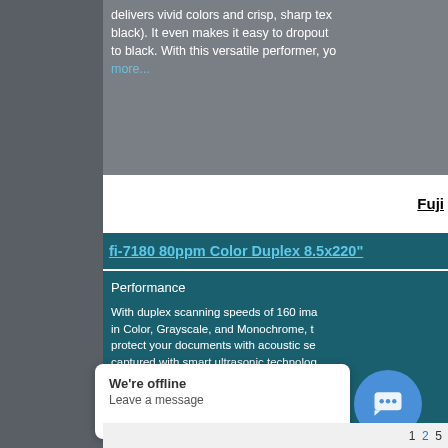delivers vivid colors and crisp, sharp text (even in black). It even makes it easy to dropout to black. With this versatile performer, yo... more...
Fuji
fi-7180 80ppm Color Duplex 8.5x220"
Performance
With duplex scanning speeds of 160 ima in Color, Grayscale, and Monochrome, t protect your documents with acoustic se captured with smart ultrasonic technolog cleaning up documents automatically in enhanced even further with new skew pr handling.
USB 3.0 for forward compatibili
Continuous hard and embosse
Ultrasonic Double-feed Detect
Scan sticky notes, taped recei
We're offline
Leave a message
1 2 5